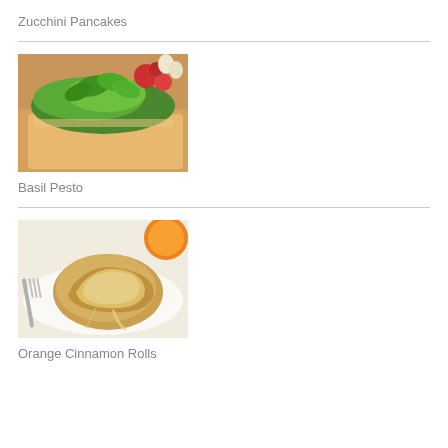Zucchini Pancakes
[Figure (photo): Photo of bruschetta with basil pesto on toasted bread, with tomatoes and garlic in background]
Basil Pesto
[Figure (photo): Photo of orange cinnamon rolls on a plate with a fork, orange slice visible]
Orange Cinnamon Rolls